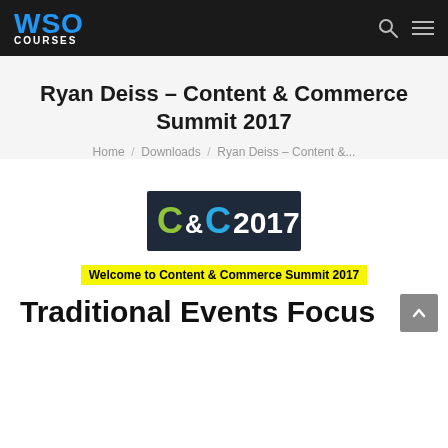WSO COURSES
Ryan Deiss – Content & Commerce Summit 2017
Home / Downloads / Ryan Deiss – Content &...
[Figure (logo): C&C2017 logo on dark navy background]
Welcome to Content & Commerce Summit 2017
Traditional Events Focus